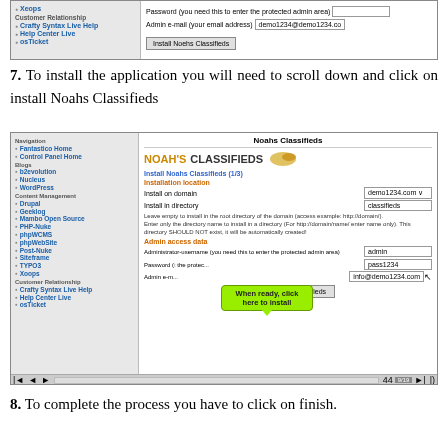[Figure (screenshot): Screenshot of Noahs Classifieds installation page showing top portion with nav menu, password field, admin email field (demo1234@demo1234.co), and Install Noahs Classifieds button]
7. To install the application you will need to scroll down and click on install Noahs Classifieds
[Figure (screenshot): Screenshot of Noahs Classifieds Fantastico installer showing full installation form with navigation menu on left, NOAH'S CLASSIFIEDS logo, Install Noahs Classifieds (1/3) step, Installation location fields (domain: demo1234.com, directory: classifieds), description text, Admin access data fields (username: admin, password: pass1234, email: info@demo1234.com), a green tooltip saying 'When ready, click here to install', and Install Noahs Classifieds button]
8. To complete the process you have to click on finish.